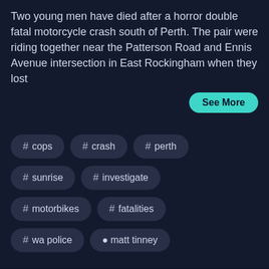Two young men have died after a horror double fatal motorcycle crash south of Perth. The pair were riding together near the Patterson Road and Ennis Avenue intersection in East Rockingham when they lost
See More
# cops
# crash
# perth
# sunrise
# investigate
# motorbikes
# fatalities
# wa police
matt tinney
[Figure (photo): The West Live podcast thumbnail with logo and male anchor/presenter]
Should Leedy's Oxford Street go CAR-less?
The West Live Podcast